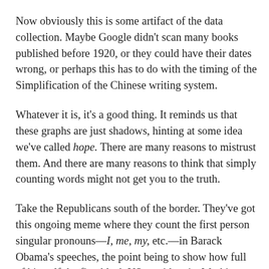Now obviously this is some artifact of the data collection. Maybe Google didn't scan many books published before 1920, or they could have their dates wrong, or perhaps this has to do with the timing of the Simplification of the Chinese writing system.
Whatever it is, it's a good thing. It reminds us that these graphs are just shadows, hinting at some idea we've called hope. There are many reasons to mistrust them. And there are many reasons to think that simply counting words might not get you to the truth.
Take the Republicans south of the border. They've got this ongoing meme where they count the first person singular pronouns—I, me, my, etc.—in Barack Obama's speeches, the point being to show how full of himself the first black US president is. Washington Post columnist George Will, for example, counts 70 first person singular pronouns among